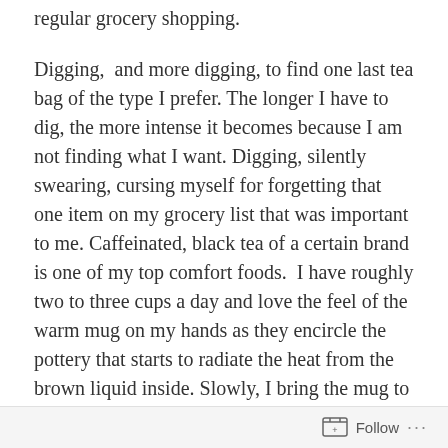regular grocery shopping.
Digging,  and more digging, to find one last tea bag of the type I prefer. The longer I have to dig, the more intense it becomes because I am not finding what I want. Digging, silently swearing, cursing myself for forgetting that one item on my grocery list that was important to me. Caffeinated, black tea of a certain brand is one of my top comfort foods.  I have roughly two to three cups a day and love the feel of the warm mug on my hands as they encircle the pottery that starts to radiate the heat from the brown liquid inside. Slowly, I bring the mug to my lips and blow to cool it off before I take the tiniest of sips. The hot, somewhat bitter liquid, rolls into the back of my mouth and down my throat, warming me from the inside, as I drink. It's
Follow ···